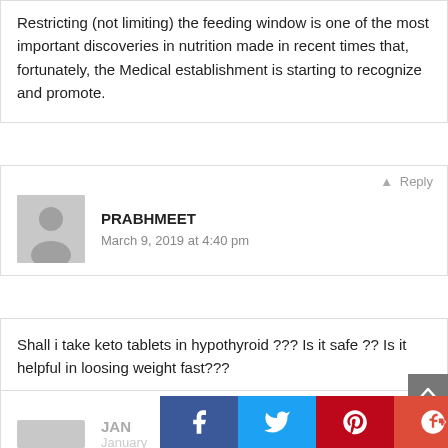Restricting (not limiting) the feeding window is one of the most important discoveries in nutrition made in recent times that, fortunately, the Medical establishment is starting to recognize and promote.
Reply
PRABHMEET
March 9, 2019 at 4:40 pm
Shall i take keto tablets in hypothyroid ??? Is it safe ?? Is it helpful in loosing weight fast???
Reply
JAN
January